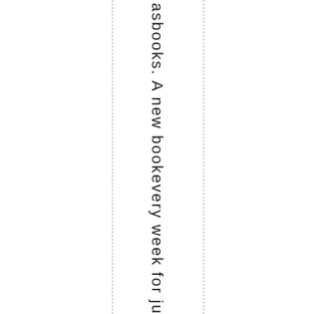asbooks. A new bookevery week for ju